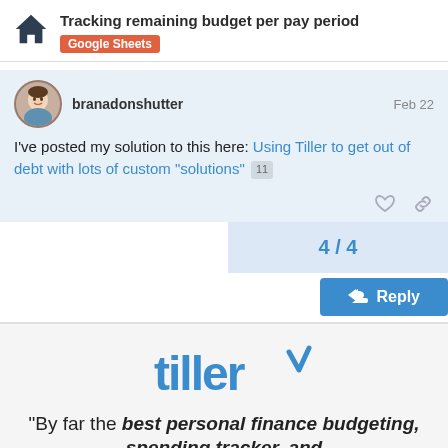Tracking remaining budget per pay period | Google Sheets
branadonshutter  Feb 22
I've posted my solution to this here: Using Tiller to get out of debt with lots of custom "solutions"  11
4 / 4
Reply
[Figure (logo): Tiller logo in blue text with tick/caret mark]
"By far the best personal finance budgeting, spending tracker, and